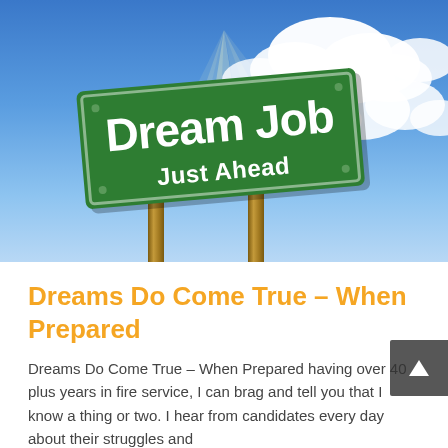[Figure (photo): A green road sign reading 'Dream Job Just Ahead' on wooden posts against a blue sky with white clouds]
Dreams Do Come True – When Prepared
Dreams Do Come True – When Prepared having over 40 plus years in fire service, I can brag and tell you that I know a thing or two. I hear from candidates every day about their struggles and